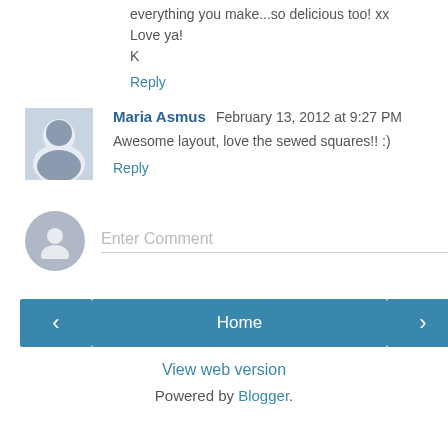everything you make...so delicious too! xx
Love ya!
K
Reply
Maria Asmus  February 13, 2012 at 9:27 PM
Awesome layout, love the sewed squares!! :)
Reply
Enter Comment
Home
View web version
Powered by Blogger.